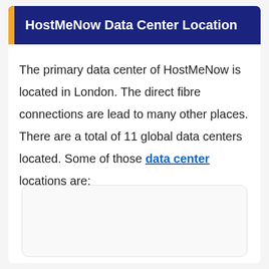HostMeNow Data Center Location
The primary data center of HostMeNow is located in London. The direct fibre connections are lead to many other places. There are a total of 11 global data centers located. Some of those data center locations are:
[Figure (other): Empty rounded rectangle box placeholder at the bottom of the page]